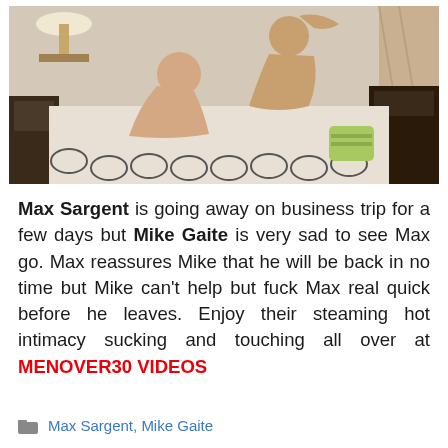[Figure (photo): Photograph of two men on a bed in a bedroom setting]
Max Sargent is going away on business trip for a few days but Mike Gaite is very sad to see Max go. Max reassures Mike that he will be back in no time but Mike can't help but fuck Max real quick before he leaves. Enjoy their steaming hot intimacy sucking and touching all over at MENOVER30 VIDEOS
Max Sargent, Mike Gaite